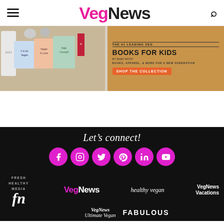VegNews
[Figure (photo): Banner advertisement for vegan books for kids showing book covers and text: THE #1 LEADING VEG BOOKS FOR KIDS BY RUBY ROTH, BOOKS, APPAREL, & MORE FOR A NEW GENERATION, SHOP THE COLLECTION]
Let's connect!
[Figure (infographic): Six magenta social media icon circles: Facebook, Instagram, Twitter, Pinterest, LinkedIn, YouTube]
[Figure (logo): Brand logos: Fresh Healthy Media fn, VegNews, healthy vegan, VegNews Vacations, VegNews Ultimate Vegan, FABULOUS]